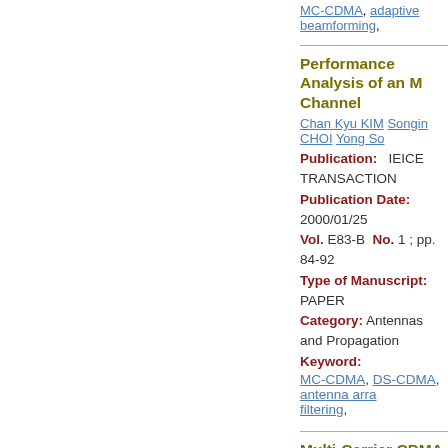MC-CDMA, adaptive beamforming,
Performance Analysis of an MC-CDMA Channel
Chan Kyu KIM  Songin CHOI  Yong So
Publication:   IEICE TRANSACTION
Publication Date: 2000/01/25
Vol. E83-B  No. 1 ; pp. 84-92
Type of Manuscript:  PAPER
Category:  Antennas and Propagation
Keyword:
MC-CDMA, DS-CDMA, antenna arra... filtering,
Multi-Carrier CDMA in Indo
Nathan YEE  Jean-Paul M. G. LINNA
Publication:   IEICE TRANSACTION
Publication Date: 1994/07/25
Vol. E77-B  No. 7 ; pp. 900-904
Type of Manuscript:  Special Section... Communications)
Category: